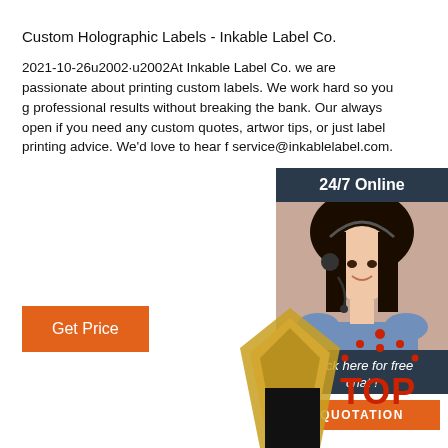Custom Holographic Labels - Inkable Label Co.
2021-10-26u2002·u2002At Inkable Label Co. we are passionate about printing custom labels. We work hard so you g professional results without breaking the bank. Our always open if you need any custom quotes, artwor tips, or just label printing advice. We'd love to hear f service@inkablelabel.com.
Get Price
[Figure (photo): Customer service representative with headset, chat widget overlay with '24/7 Online' header, 'Click here for free chat!' text, and orange QUOTATION button]
[Figure (photo): Partial image of holographic labels at bottom center of page]
[Figure (illustration): Red 'TOP' logo with dot pattern above letters at bottom right]